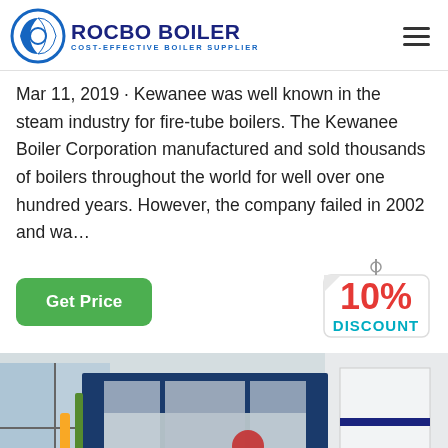ROCBO BOILER - COST-EFFECTIVE BOILER SUPPLIER
Mar 11, 2019 · Kewanee was well known in the steam industry for fire-tube boilers. The Kewanee Boiler Corporation manufactured and sold thousands of boilers throughout the world for well over one hundred years. However, the company failed in 2002 and wa…
[Figure (other): Get Price green button and 10% DISCOUNT badge/sticker]
[Figure (photo): Industrial boiler unit in a factory/facility setting, large rectangular metallic body with blue casing, red burner component at the bottom right, yellow gas pipes on the left side]